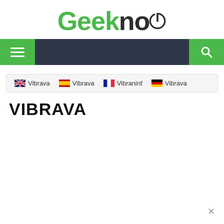[Figure (logo): Geeknow logo with green 'Geek' text, dark 'no' text, and a power button icon]
[Figure (screenshot): Navigation bar with green hamburger menu button on left, dark center area, and green search button on right]
🇬🇧 Vibrava  🇪🇸 Vibrava  🇫🇷 Vibraninf  🇩🇪 Vibrava
VIBRAVA